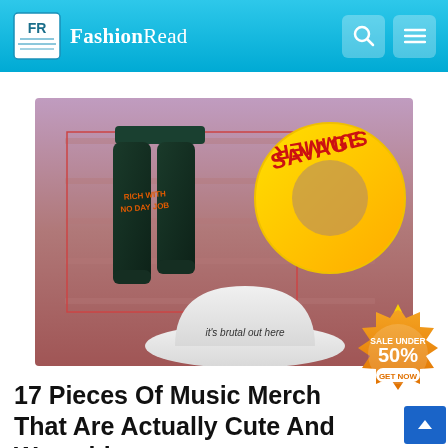FashionRead
[Figure (photo): Fashion merchandise items: dark green sweatpants with orange text 'RICH WITH NO DAY JOB', a yellow inflatable ring with 'SAVAGE SUMMER' text, and a white bucket hat with 'it's brutal out here' text. Background is pinkish-purple gradient with horizontal stripes.]
17 Pieces Of Music Merch That Are Actually Cute And Wearable
[Figure (infographic): Sale badge showing 'SALE UNDER 50%' with a crown icon and 'GET NOW' button, golden/orange color scheme.]